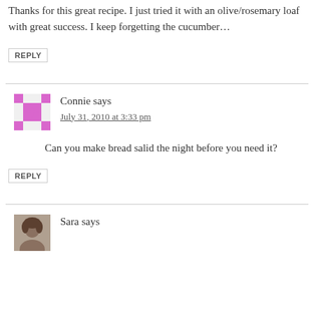Thanks for this great recipe. I just tried it with an olive/rosemary loaf with great success. I keep forgetting the cucumber…
REPLY
Connie says
July 31, 2010 at 3:33 pm
Can you make bread salid the night before you need it?
REPLY
Sara says